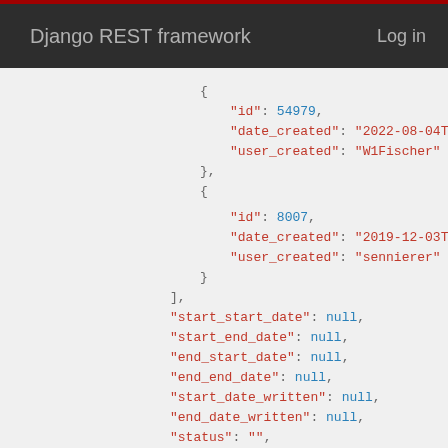Django REST framework   Log in
JSON code block showing API response with id: 54979, date_created: 2022-08-04T..., user_created: W1Fischer, then id: 8007, date_created: 2019-12-03T..., user_created: sennierer, followed by start_start_date: null, start_end_date: null, end_start_date: null, end_end_date: null, start_date_written: null, end_date_written: null, status: "", first_name: "Mauritz", gender: "male", collection: [ { id: 5,